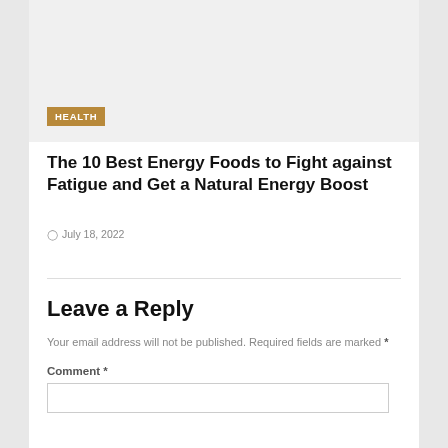[Figure (photo): Light gray placeholder image area at top of article card]
HEALTH
The 10 Best Energy Foods to Fight against Fatigue and Get a Natural Energy Boost
July 18, 2022
Leave a Reply
Your email address will not be published. Required fields are marked *
Comment *